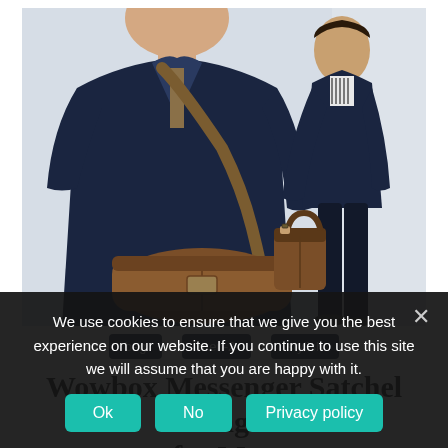[Figure (photo): Two men in dark navy clothing carrying brown leather bags. Left man has a large leather duffle bag with a shoulder strap. Right man holds a leather tote bag while walking. Both wearing navy blazers.]
bag · men-2 · stylish
Wowbox Messenger Satchel Bag for Men
We use cookies to ensure that we give you the best experience on our website. If you continue to use this site we will assume that you are happy with it.
Ok  No  Privacy policy